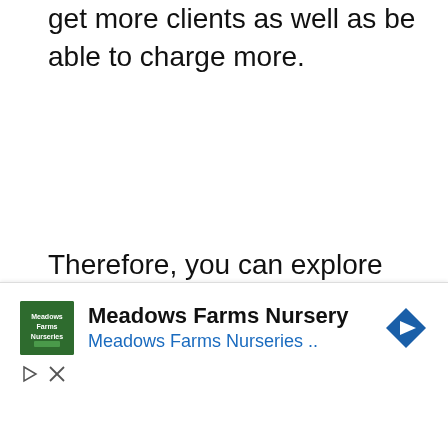get more clients as well as be able to charge more.
Therefore, you can explore more instead of limiting yourself to certain cities. With experience, you can make six figures. You cannot expect to achieve everything overnight. It will take
[Figure (infographic): Advertisement banner for Meadows Farms Nursery showing logo, business name, link text 'Meadows Farms Nurseries..', navigation arrow icon, play button and close button controls]